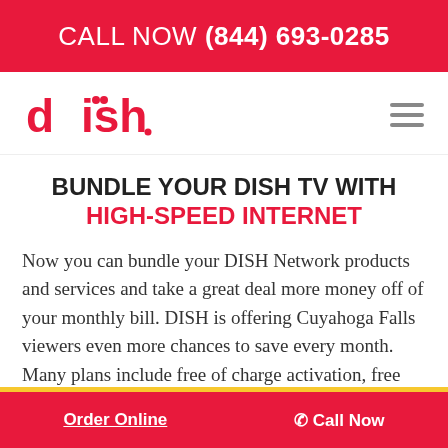CALL NOW (844) 693-0285
[Figure (logo): DISH Network logo in red]
BUNDLE YOUR DISH TV WITH HIGH-SPEED INTERNET
Now you can bundle your DISH Network products and services and take a great deal more money off of your monthly bill. DISH is offering Cuyahoga Falls viewers even more chances to save every month. Many plans include free of charge activation, free set up,
Order Online   ✆ Call Now